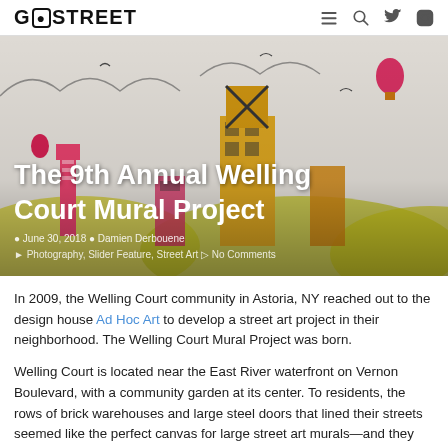GO STREET
[Figure (photo): Colorful street art mural with robot-like figures, buildings, and doodles on a white brick wall background. Pink, yellow, and gold colors dominate. Title text overlaid: 'The 9th Annual Welling Court Mural Project'. Meta: June 30, 2018, Damien Derbouene, Photography, Slider Feature, Street Art, No Comments.]
The 9th Annual Welling Court Mural Project
In 2009, the Welling Court community in Astoria, NY reached out to the design house Ad Hoc Art to develop a street art project in their neighborhood. The Welling Court Mural Project was born.
Welling Court is located near the East River waterfront on Vernon Boulevard, with a community garden at its center. To residents, the rows of brick warehouses and large steel doors that lined their streets seemed like the perfect canvas for large street art murals—and they